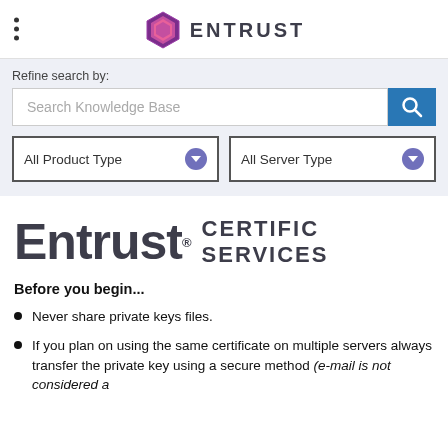[Figure (logo): Entrust hexagonal logo with purple/pink shield icon and ENTRUST text in dark grey]
Refine search by:
Search Knowledge Base
All Product Type
All Server Type
[Figure (logo): Entrust Certificate Services logo — large bold 'Entrust' text with registered mark, followed by 'CERTIFICATE SERVICES' stacked on right]
Before you begin...
Never share private keys files.
If you plan on using the same certificate on multiple servers always transfer the private key using a secure method (e-mail is not considered a